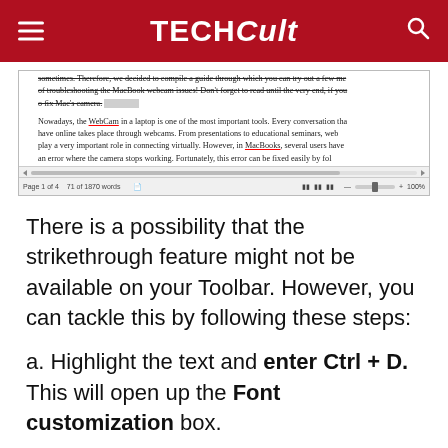TechCult
[Figure (screenshot): Screenshot of a Microsoft Word document showing text about MacBook webcam issues with strikethrough formatting and a status bar showing Page 1 of 4, 71 of 1870 words, 100%]
There is a possibility that the strikethrough feature might not be available on your Toolbar. However, you can tackle this by following these steps:
a. Highlight the text and enter Ctrl + D. This will open up the Font customization box.